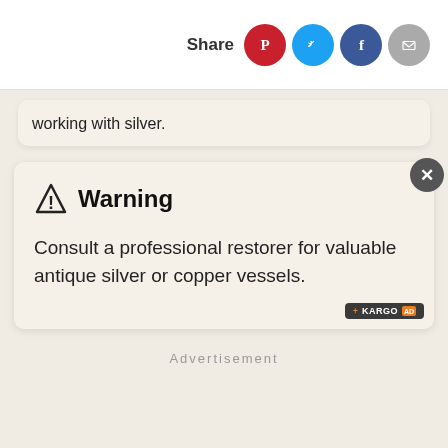Share
working with silver.
Warning
Consult a professional restorer for valuable antique silver or copper vessels.
Advertisement